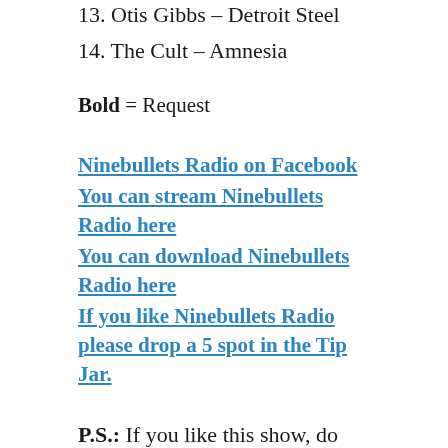13. Otis Gibbs – Detroit Steel
14. The Cult – Amnesia
Bold = Request
Ninebullets Radio on Facebook
You can stream Ninebullets Radio here
You can download Ninebullets Radio here
If you like Ninebullets Radio please drop a 5 spot in the Tip Jar.
P.S.: If you like this show, do me a favor and post about it on your Facebook/Twitter/Blog. It'll do a lot to help these bands reach new ears...and in the end, that's what this is all about. It'll also help bring the existence of the radio show to more people's attention & the